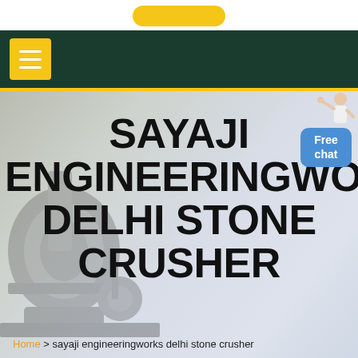[Figure (screenshot): Top white bar with a yellow rounded button (partially visible)]
Navigation bar with dark green background and yellow hamburger menu button
SAYAJI ENGINEERINGWORKS DELHI STONE CRUSHER
[Figure (photo): Background image of stone crusher machinery, muted/faded]
Free chat
Home > sayaji engineeringworks delhi stone crusher